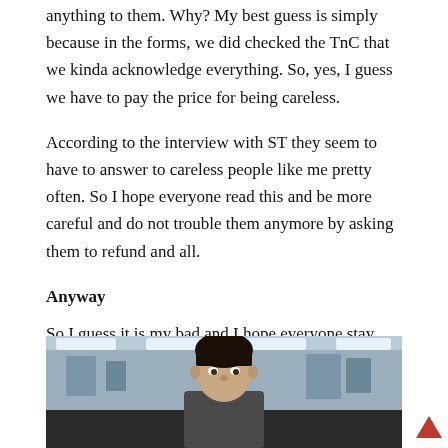anything to them. Why? My best guess is simply because in the forms, we did checked the TnC that we kinda acknowledge everything. So, yes, I guess we have to pay the price for being careless.
According to the interview with ST they seem to have to answer to careless people like me pretty often. So I hope everyone read this and be more careful and do not trouble them anymore by asking them to refund and all.
Anyway
So I guess it is my bad and I hope everyone stay alert for anything online. READ ALL THE TnC!
[Figure (photo): Photo of a man in an office environment, partially visible from the waist up, with ceiling lights and office background.]